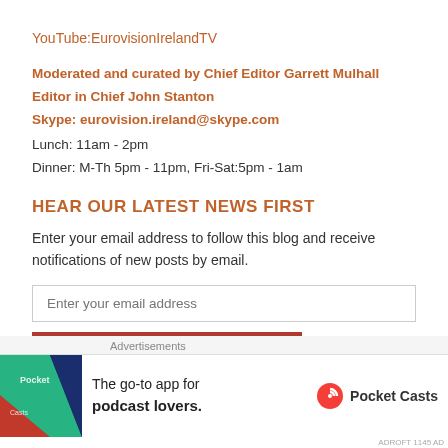YouTube:EurovisionIrelandTV
Moderated and curated by Chief Editor Garrett Mulhall
Editor in Chief John Stanton
Skype: eurovision.ireland@skype.com
Lunch: 11am - 2pm
Dinner: M-Th 5pm - 11pm, Fri-Sat:5pm - 1am
HEAR OUR LATEST NEWS FIRST
Enter your email address to follow this blog and receive notifications of new posts by email.
Enter your email address
FOLLOW THE BLOG
[Figure (infographic): Advertisement bar for Pocket Casts podcast app at bottom of page. Shows colorful logo on left, text 'The go-to app for podcast lovers.' and Pocket Casts logo on right.]